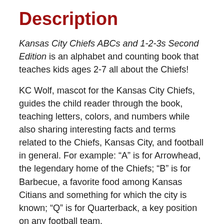Description
Kansas City Chiefs ABCs and 1-2-3s Second Edition is an alphabet and counting book that teaches kids ages 2-7 all about the Chiefs!
KC Wolf, mascot for the Kansas City Chiefs, guides the child reader through the book, teaching letters, colors, and numbers while also sharing interesting facts and terms related to the Chiefs, Kansas City, and football in general. For example: “A” is for Arrowhead, the legendary home of the Chiefs; “B” is for Barbecue, a favorite food among Kansas Citians and something for which the city is known; “Q” is for Quarterback, a key position on any football team.